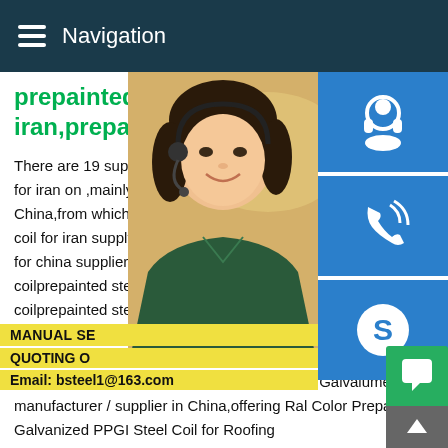Navigation
prepainted galvanized steel c iran,prepainted
There are 19 suppliers who sells prepainted for iran on ,mainly located in Asia.The top China,from which the percentage of prepa coil for iran supply is 100% respectively.ira for china supplier prepainted steel coil fop coilprepainted steel coil buyerprepainted g coilprepainted steelprepainted steel coil tra sheet distributorsprepainted galvalume ste aluminum coil12345NextChina Ral Color Prepainted Galvanized PPGI Steel Coil for Gi Steel,PPGL,Prepanted Galvalume Steel manufacturer / supplier in China,offering Ral Color Prepainted Galvanized PPGI Steel Coil for Roofing Material,Gi/PPGI/PPGL/Prepainted /Zinc Coated Color PrefabCorrugated Steel Roofing Sheet,Dx51d Z40-275g 0.13-
[Figure (photo): Customer service representative woman with headset, smiling]
[Figure (infographic): Three blue icon buttons on right side: headset/support icon, phone icon, Skype icon]
MANUAL SE QUOTING O Email: bsteel1@163.com
[Figure (infographic): Green chat bubble button and grey up-arrow button at bottom right]